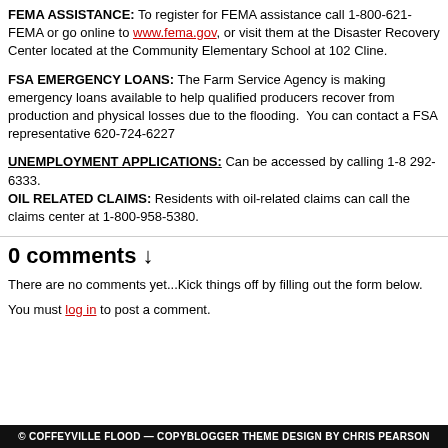FEMA ASSISTANCE: To register for FEMA assistance call 1-800-621-FEMA or go online to www.fema.gov, or visit them at the Disaster Recovery Center located at the Community Elementary School at 102 Cline.
FSA EMERGENCY LOANS: The Farm Service Agency is making emergency loans available to help qualified producers recover from production and physical losses due to the flooding. You can contact a FSA representative 620-724-6227
UNEMPLOYMENT APPLICATIONS: Can be accessed by calling 1-8 292-6333.
OIL RELATED CLAIMS: Residents with oil-related claims can call the claims center at 1-800-958-5380.
0 comments ↓
There are no comments yet...Kick things off by filling out the form below.
You must log in to post a comment.
© COFFEYVILLE FLOOD — COPYBLOGGER THEME DESIGN BY CHRIS PEARSON